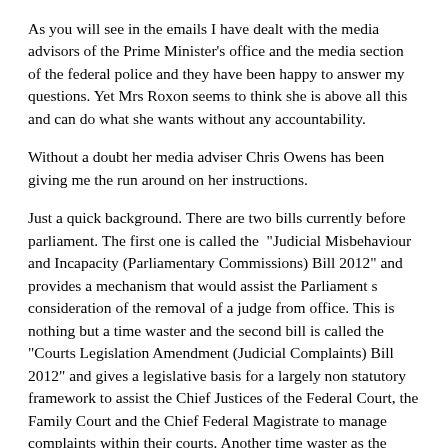As you will see in the emails I have dealt with the media advisors of the Prime Minister's office and the media section of the federal police and they have been happy to answer my questions. Yet Mrs Roxon seems to think she is above all this and can do what she wants without any accountability.
Without a doubt her media adviser Chris Owens has been giving me the run around on her instructions.
Just a quick background. There are two bills currently before parliament. The first one is called the “Judicial Misbehaviour and Incapacity (Parliamentary Commissions) Bill 2012” and provides a mechanism that would assist the Parliament s consideration of the removal of a judge from office. This is nothing but a time waster and the second bill is called the “Courts Legislation Amendment (Judicial Complaints) Bill 2012” and gives a legislative basis for a largely non statutory framework to assist the Chief Justices of the Federal Court, the Family Court and the Chief Federal Magistrate to manage complaints within their courts. Another time waster as the Chief justices just sweep complaints under the carpet.